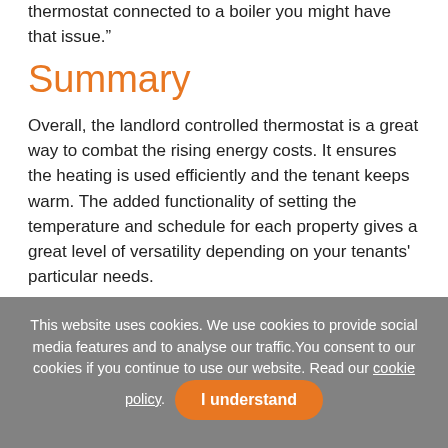thermostat connected to a boiler you might have that issue.”
Summary
Overall, the landlord controlled thermostat is a great way to combat the rising energy costs. It ensures the heating is used efficiently and the tenant keeps warm. The added functionality of setting the temperature and schedule for each property gives a great level of versatility depending on your tenants' particular needs.
YouTube video blog:
This website uses cookies. We use cookies to provide social media features and to analyse our traffic. You consent to our cookies if you continue to use our website. Read our cookie policy. I understand